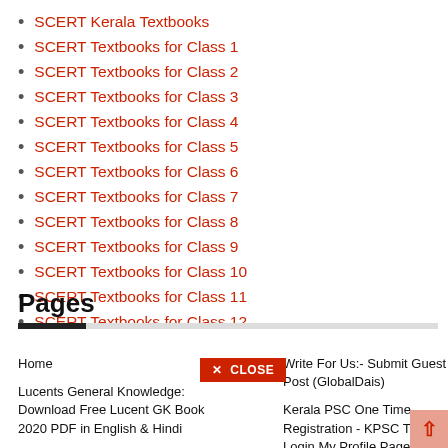SCERT Kerala Textbooks
SCERT Textbooks for Class 1
SCERT Textbooks for Class 2
SCERT Textbooks for Class 3
SCERT Textbooks for Class 4
SCERT Textbooks for Class 5
SCERT Textbooks for Class 6
SCERT Textbooks for Class 7
SCERT Textbooks for Class 8
SCERT Textbooks for Class 9
SCERT Textbooks for Class 10
SCERT Textbooks for Class 11
SCERT Textbooks for Class 12
Pages
Home
Lucents General Knowledge: Download Free Lucent GK Book 2020 PDF in English & Hindi
IIT JEE Maths Notes
Write For Us:- Submit Guest Post (GlobalDais)
Kerala PSC One Time Registration - KPSC Thulasi Login My Profile Page